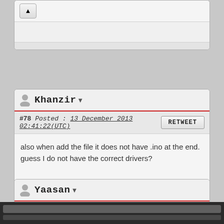[Figure (screenshot): Top partial comment card with upvote button, partially visible at top of page]
#78  Posted : 13 December 2013 02:41:22(UTC)
also when add the file it does not have .ino at the end. guess I do not have the correct drivers?
Khanzir
#79  Posted : 13 December 2013 03:46:24(UTC)
Yaasan